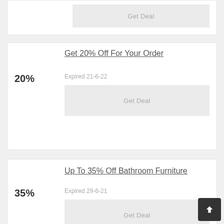Get Deal
Get 20% Off For Your Order
20%
Expired 21-6-22
Get Deal
Up To 35% Off Bathroom Furniture
35%
Expired 29-6-21
Get Deal